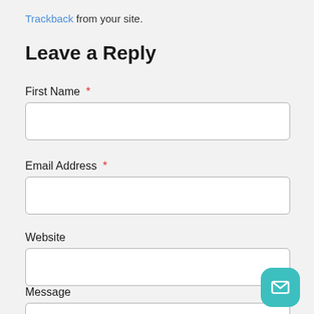Trackback from your site.
Leave a Reply
First Name *
Email Address *
Website
Message